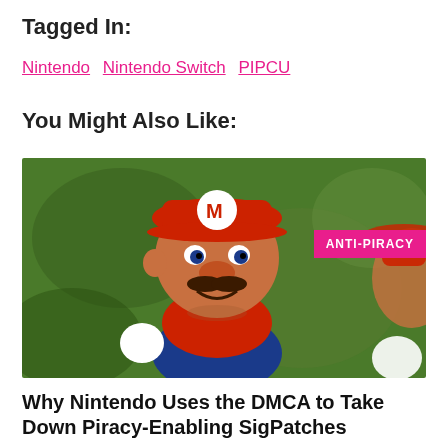Tagged In:
Nintendo  Nintendo Switch  PIPCU
You Might Also Like:
[Figure (photo): A stylized painting-style image of Mario (Nintendo character) in red hat and overalls, set against a green background. A pink 'ANTI-PIRACY' badge overlays the top-right corner.]
Why Nintendo Uses the DMCA to Take Down Piracy-Enabling SigPatches
August 2, 2022, 12:57 by Andy Maxwell